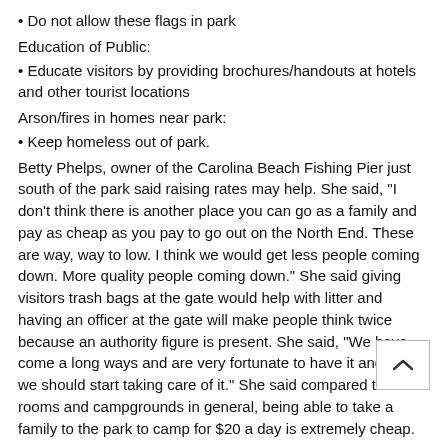• Do not allow these flags in park
Education of Public:
• Educate visitors by providing brochures/handouts at hotels and other tourist locations
Arson/fires in homes near park:
• Keep homeless out of park.
Betty Phelps, owner of the Carolina Beach Fishing Pier just south of the park said raising rates may help. She said, "I don't think there is another place you can go as a family and pay as cheap as you pay to go out on the North End. These are way, way to low. I think we would get less people coming down. More quality people coming down." She said giving visitors trash bags at the gate would help with litter and having an officer at the gate will make people think twice because an authority figure is present. She said, "We have come a long ways and are very fortunate to have it and I think we should start taking care of it." She said compared to hotel rooms and campgrounds in general, being able to take a family to the park to camp for $20 a day is extremely cheap.
Mayor Dan Wilcox said limiting the number of people in the park is a